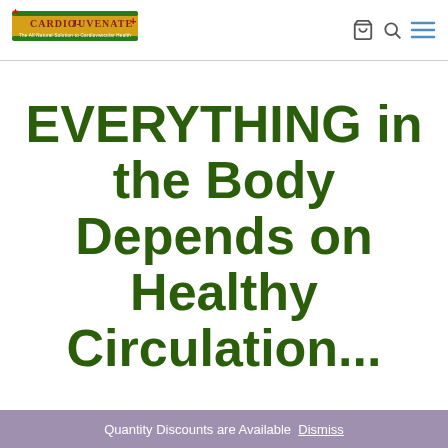[Figure (logo): Cardio-Juvenate+ logo — The All Natural Solution to Cardiovascular Health]
EVERYTHING in the Body Depends on Healthy Circulation...
Quantity Discounts are Available  Dismiss